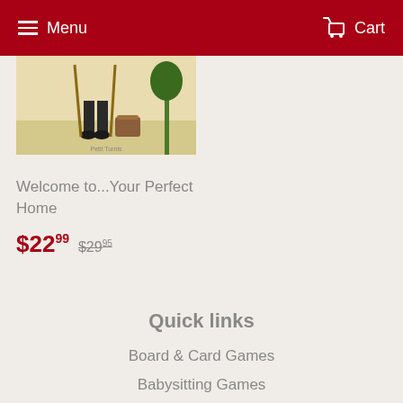Menu  Cart
[Figure (photo): Partial view of a book cover showing a person outdoors with gardening tools and a basket, with text 'Petit Turnis' visible at bottom]
Welcome to...Your Perfect Home
$22.99  $29.95
Quick links
Board & Card Games
Babysitting Games